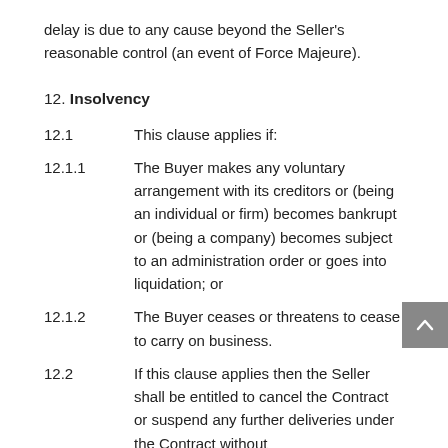delay is due to any cause beyond the Seller's reasonable control (an event of Force Majeure).
12. Insolvency
12.1   This clause applies if:
12.1.1   The Buyer makes any voluntary arrangement with its creditors or (being an individual or firm) becomes bankrupt or (being a company) becomes subject to an administration order or goes into liquidation; or
12.1.2   The Buyer ceases or threatens to cease to carry on business.
12.2   If this clause applies then the Seller shall be entitled to cancel the Contract or suspend any further deliveries under the Contract without